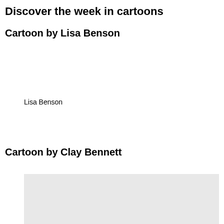Discover the week in cartoons
Cartoon by Lisa Benson
[Figure (illustration): Cartoon illustration by Lisa Benson (image area appears blank/white)]
Lisa Benson
Cartoon by Clay Bennett
[Figure (illustration): Cartoon illustration by Clay Bennett (image area appears light gray, partially visible)]